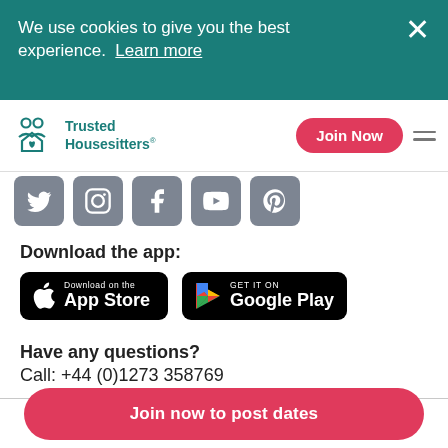We use cookies to give you the best experience.  Learn more
[Figure (logo): Trusted Housesitters logo with teal icon and teal text]
[Figure (screenshot): Social media icons: Twitter, Instagram, Facebook, YouTube, Pinterest — grey rounded squares]
Download the app:
[Figure (screenshot): App Store download badge (black, Apple logo)]
[Figure (screenshot): Google Play download badge (black, Play logo)]
Have any questions?
Call: +44 (0)1273 358769
Join now to post dates